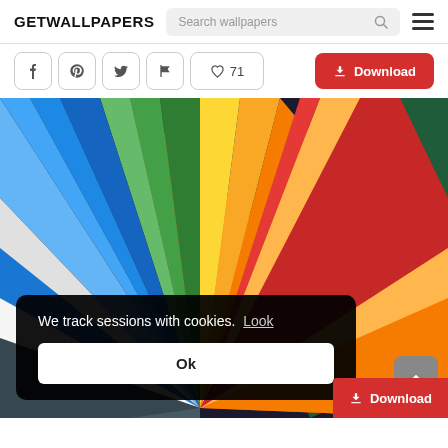GETWALLPAPERS
Search wallpapers
♡ 71
↓ Download
[Figure (screenshot): Colorful geometric wallpaper with triangular shapes radiating from a central point, featuring colors including orange, yellow, green, blue, white, dark gray, teal, and navy.]
We track sessions with cookies.  Look
Ok
↓ Download